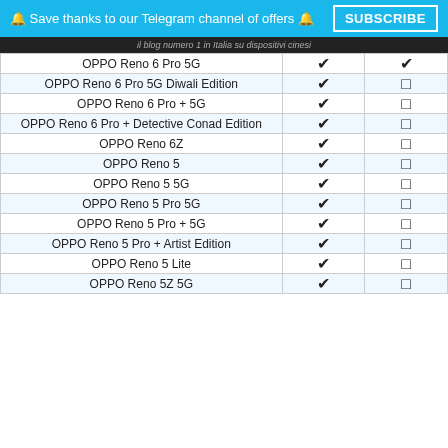🔔 Save thanks to our Telegram channel of offers 🔔  SUBSCRIBE
il blog numero 1 in Italia su dispositivi cinesi
| Device | ✔ | □ |
| --- | --- | --- |
| OPPO Reno 6 Pro 5G | ✔ | ✔ |
| OPPO Reno 6 Pro 5G Diwali Edition | ✔ | □ |
| OPPO Reno 6 Pro + 5G | ✔ | □ |
| OPPO Reno 6 Pro + Detective Conad Edition | ✔ | □ |
| OPPO Reno 6Z | ✔ | □ |
| OPPO Reno 5 | ✔ | □ |
| OPPO Reno 5 5G | ✔ | □ |
| OPPO Reno 5 Pro 5G | ✔ | □ |
| OPPO Reno 5 Pro + 5G | ✔ | □ |
| OPPO Reno 5 Pro + Artist Edition | ✔ | □ |
| OPPO Reno 5 Lite | ✔ | □ |
| OPPO Reno 5Z 5G | ✔ | □ |